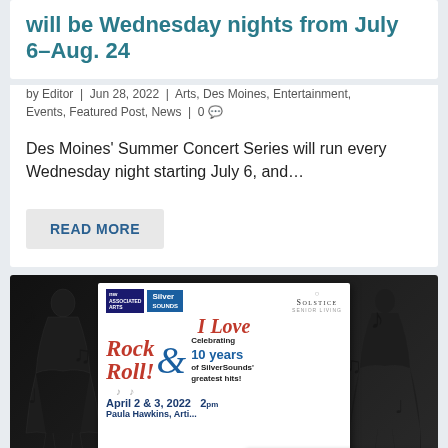will be Wednesday nights from July 6–Aug. 24
by Editor | Jun 28, 2022 | Arts, Des Moines, Entertainment, Events, Featured Post, News | 0
Des Moines' Summer Concert Series will run every Wednesday night starting July 6, and…
READ MORE
[Figure (illustration): Concert event poster for 'I Love Rock & Roll!' celebrating 10 years of SilverSounds' greatest hits, April 2 & 3, 2022, with Paula Hawkins, featuring NW Associated Arts, Silver Sounds, and Solstice Senior Living logos. Background shows black musical silhouette figures.]